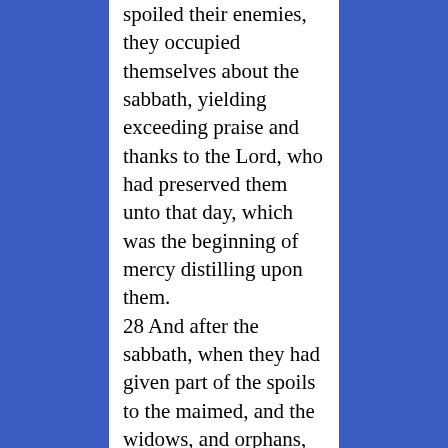spoiled their enemies, they occupied themselves about the sabbath, yielding exceeding praise and thanks to the Lord, who had preserved them unto that day, which was the beginning of mercy distilling upon them. 28 And after the sabbath, when they had given part of the spoils to the maimed, and the widows, and orphans, the residue they divided among themselves and their servants. 29 When this was done, and